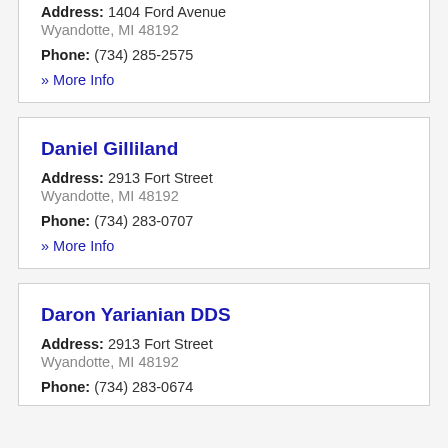Address: 1404 Ford Avenue
Wyandotte, MI 48192
Phone: (734) 285-2575
» More Info
Daniel Gilliland
Address: 2913 Fort Street
Wyandotte, MI 48192
Phone: (734) 283-0707
» More Info
Daron Yarianian DDS
Address: 2913 Fort Street
Wyandotte, MI 48192
Phone: (734) 283-0674